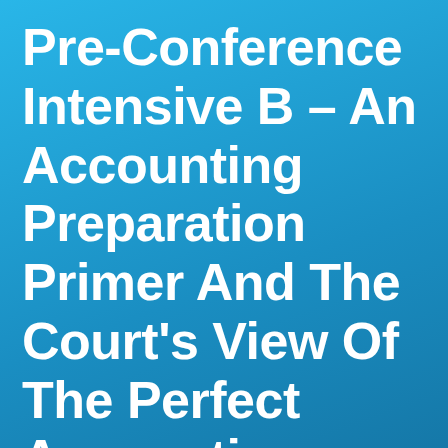Pre-Conference Intensive B – An Accounting Preparation Primer And The Court's View Of The Perfect Accounting